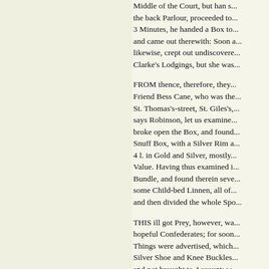Middle of the Court, but han s... the back Parlour, proceeded to... 3 Minutes, he handed a Box to... and came out therewith: Soon a... likewise, crept out undiscovere... Clarke's Lodgings, but she was...
FROM thence, therefore, they... Friend Bess Cane, who was the... St. Thomas's-street, St. Giles's,... says Robinson, let us examine... broke open the Box, and found... Snuff Box, with a Silver Rim a... 4 l. in Gold and Silver, mostly... Value. Having thus examined i... Bundle, and found therein seve... some Child-bed Linnen, all of... and then divided the whole Spo...
THIS ill got Prey, however, wa... hopeful Confederates; for soon... Things were advertised, which... Silver Shoe and Knee Buckles... and not brought to Account; w... was so highly resented by that... upon the first Notice of it he fl...